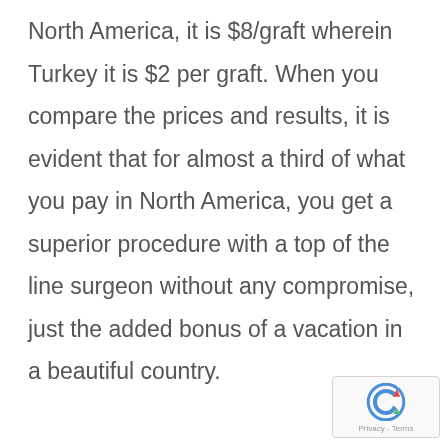North America, it is $8/graft wherein Turkey it is $2 per graft. When you compare the prices and results, it is evident that for almost a third of what you pay in North America, you get a superior procedure with a top of the line surgeon without any compromise, just the added bonus of a vacation in a beautiful country.
[Figure (logo): reCAPTCHA badge with Privacy - Terms text]